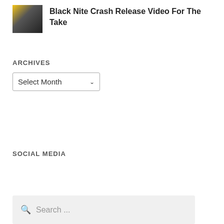[Figure (photo): Small thumbnail photo of a band/group of people in dark clothing against a light background]
Black Nite Crash Release Video For The Take
ARCHIVES
[Figure (screenshot): Dropdown select box labeled 'Select Month' with a down arrow]
SOCIAL MEDIA
[Figure (screenshot): Search bar with magnifying glass icon and placeholder text 'Search ...']